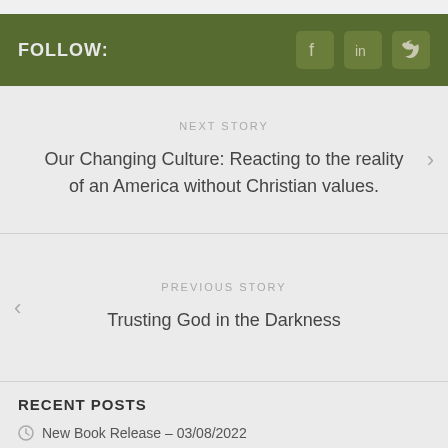FOLLOW:
NEXT STORY
Our Changing Culture: Reacting to the reality of an America without Christian values.
PREVIOUS STORY
Trusting God in the Darkness
RECENT POSTS
New Book Release – 03/08/2022
The New Definition of Freedom: